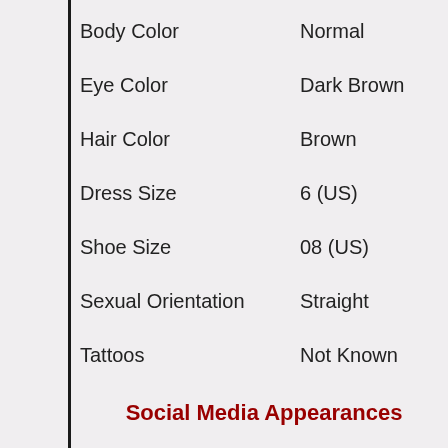| Field | Value |
| --- | --- |
| Body Color | Normal |
| Eye Color | Dark Brown |
| Hair Color | Brown |
| Dress Size | 6 (US) |
| Shoe Size | 08 (US) |
| Sexual Orientation | Straight |
| Tattoos | Not Known |
Social Media Appearances